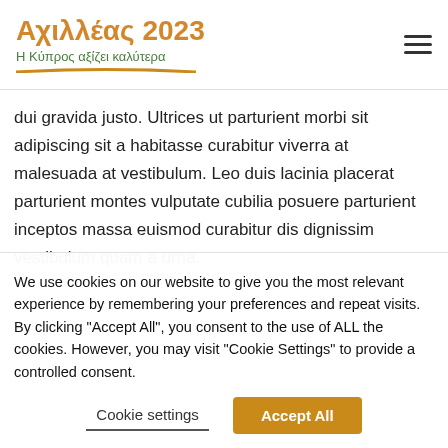Αχιλλέας 2023 — Η Κύπρος αξίζει καλύτερα
dui gravida justo. Ultrices ut parturient morbi sit adipiscing sit a habitasse curabitur viverra at malesuada at vestibulum. Leo duis lacinia placerat parturient montes vulputate cubilia posuere parturient inceptos massa euismod curabitur dis dignissim vestibulum quam a urna.
We use cookies on our website to give you the most relevant experience by remembering your preferences and repeat visits. By clicking "Accept All", you consent to the use of ALL the cookies. However, you may visit "Cookie Settings" to provide a controlled consent.